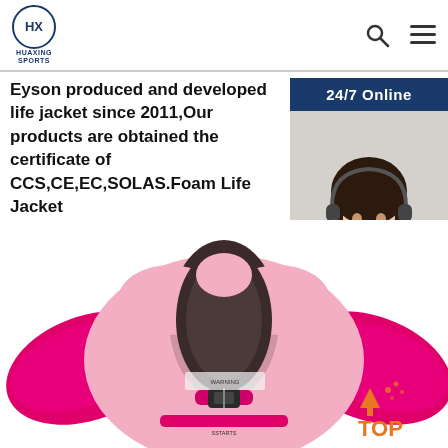Huaxing Sports logo, search icon, menu icon
Eyson produced and developed life jacket since 2011,Our products are obtained the certificate of CCS,CE,EC,SOLAS.Foam Life Jacket
Get Price
[Figure (photo): Customer service representative woman with headset smiling, 24/7 Online panel with dark blue background]
Click here for free chat !
QUOTATION
[Figure (photo): Pink foam life jacket with arm floats for children, shown from front with buckle strap]